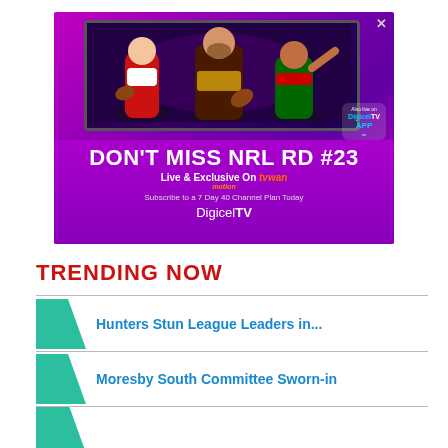[Figure (photo): Advertisement for Digicel TV NRL Round 23. Shows three rugby league players in front of a TV screen on a purple background. Text reads: DON'T MISS NRL RD #23, Live & Exclusive On tvwan, Subscribe to a 7 Day 40 Channel Plan Today, DigicelTV. Also live on DigicelTV App badge shown.]
TRENDING NOW
Hunters Stun League Leaders in...
Moresby South Committee Sworn-in